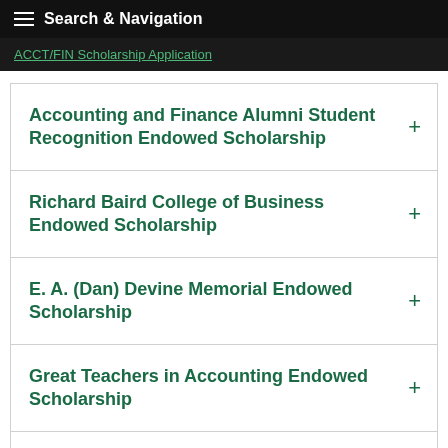Search & Navigation
ACCT/FIN Scholarship Application
Accounting and Finance Alumni Student Recognition Endowed Scholarship
Richard Baird College of Business Endowed Scholarship
E. A. (Dan) Devine Memorial Endowed Scholarship
Great Teachers in Accounting Endowed Scholarship